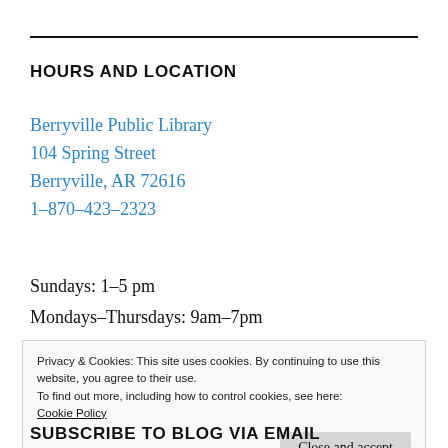HOURS AND LOCATION
Berryville Public Library
104 Spring Street
Berryville, AR 72616
1-870-423-2323
Sundays: 1-5 pm
Mondays-Thursdays: 9am-7pm
Privacy & Cookies: This site uses cookies. By continuing to use this website, you agree to their use.
To find out more, including how to control cookies, see here:
Cookie Policy
SUBSCRIBE TO BLOG VIA EMAIL